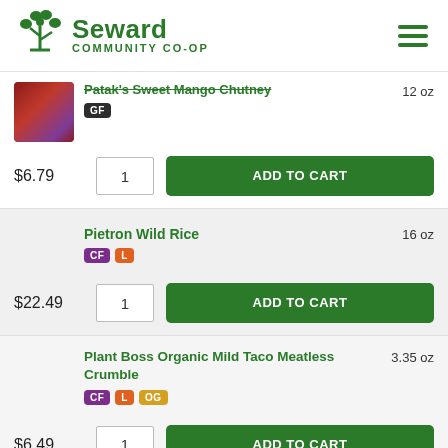Seward Community Co-op
Patak's Sweet Mango Chutney — GF — 12 oz — $6.79 — ADD TO CART
Pietron Wild Rice — CF L — 16 oz — $22.49 — ADD TO CART
Plant Boss Organic Mild Taco Meatless Crumble — CF L OG — 3.35 oz — $6.49 — ADD TO CART